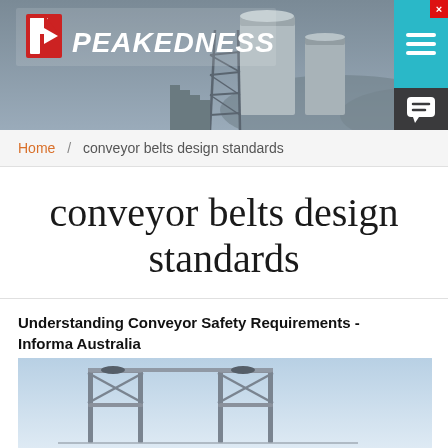[Figure (photo): Peakedness website header with company logo showing industrial plant/silos in the background]
Home / conveyor belts design standards
conveyor belts design standards
Understanding Conveyor Safety Requirements - Informa Australia
[Figure (photo): Photo of conveyor belt frame/structure equipment against a light blue sky background]